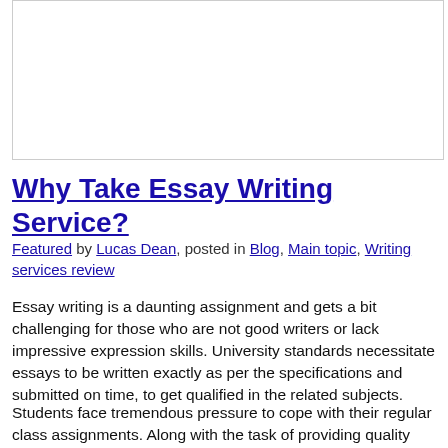[Figure (other): Blank white image box with border]
Why Take Essay Writing Service?
Featured by Lucas Dean, posted in Blog, Main topic, Writing services review
Essay writing is a daunting assignment and gets a bit challenging for those who are not good writers or lack impressive expression skills. University standards necessitate essays to be written exactly as per the specifications and submitted on time, to get qualified in the related subjects.
Students face tremendous pressure to cope with their regular class assignments. Along with the task of providing quality essays within the prescribed time limit. As these essays require a lot of